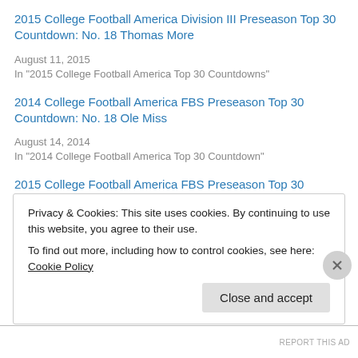2015 College Football America Division III Preseason Top 30 Countdown: No. 18 Thomas More
August 11, 2015
In "2015 College Football America Top 30 Countdowns"
2014 College Football America FBS Preseason Top 30 Countdown: No. 18 Ole Miss
August 14, 2014
In "2014 College Football America Top 30 Countdown"
2015 College Football America FBS Preseason Top 30 Countdown: No. 4 Clemson
August 30, 2015
In "2015 College Football America Top 30 Countdowns"
Privacy & Cookies: This site uses cookies. By continuing to use this website, you agree to their use. To find out more, including how to control cookies, see here: Cookie Policy